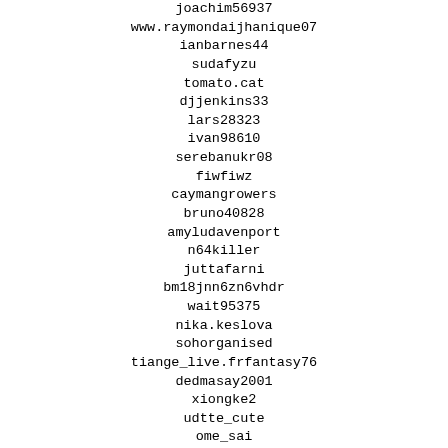joachim56937
www.raymondaijhanique07
ianbarnes44
sudafyzu
tomato.cat
djjenkins33
lars28323
ivan98610
serebanukr08
fiwfiwz
caymangrowers
bruno40828
amyludavenport
n64killer
juttafarni
bm18jnn6zn6vhdr
wait95375
nika.keslova
sohorganised
tiange_live.frfantasy76
dedmasay2001
xiongke2
udtte_cute
ome_sai
elsacristinapereira
vpvfhbyf-
fahixeli
markhenley45
zackez99
areeya75